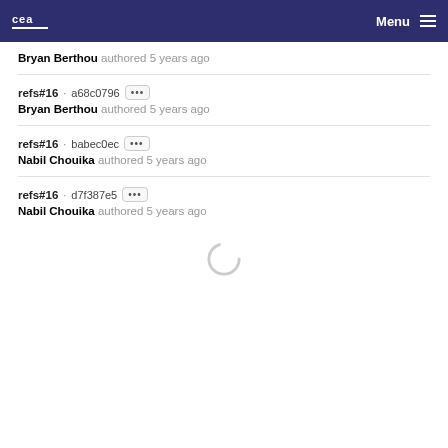CEA — Menu
Bryan Berthou authored 5 years ago
refs#16 · a68c0796 [...] Bryan Berthou authored 5 years ago
refs#16 · babec0ec [...] Nabil Chouika authored 5 years ago
refs#16 · d7f387e5 [...] Nabil Chouika authored 5 years ago
[Figure (other): Loading spinner circle]